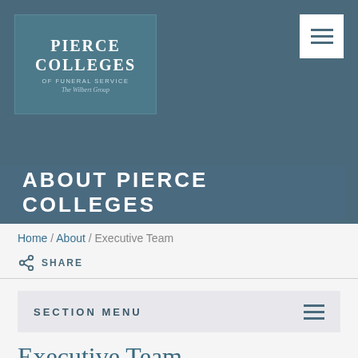[Figure (logo): Pierce Colleges of Funeral Service logo — The Wilbert Group]
ABOUT PIERCE COLLEGES
Home / About / Executive Team
SHARE
SECTION MENU
Executive Team